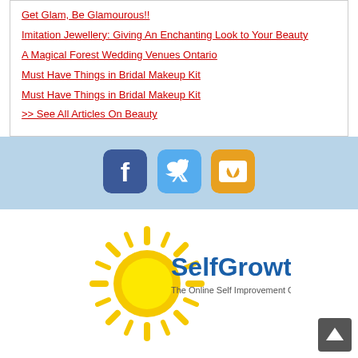Imitation Jewellery: Giving An Enchanting Look to Your Beauty
A Magical Forest Wedding Venues Ontario
Must Have Things in Bridal Makeup Kit
Must Have Things in Bridal Makeup Kit
>> See All Articles On Beauty
[Figure (other): Social media icons: Facebook, Twitter, RSS feed]
[Figure (logo): SelfGrowth.com - The Online Self Improvement Community logo with yellow sun graphic]